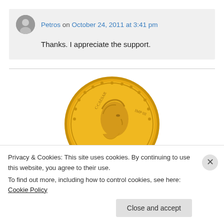Petros on October 24, 2011 at 3:41 pm
Thanks. I appreciate the support.
[Figure (photo): Gold ancient Roman coin with profile portrait and inscriptions, partially cropped at bottom]
Privacy & Cookies: This site uses cookies. By continuing to use this website, you agree to their use.
To find out more, including how to control cookies, see here: Cookie Policy
Close and accept